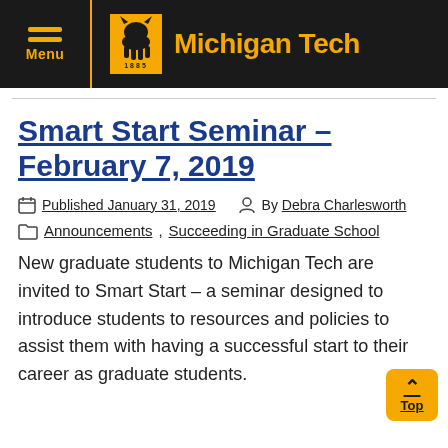Michigan Tech — Menu / Navigation header
Smart Start Seminar – February 7, 2019
Published January 31, 2019  By Debra Charlesworth
Announcements , Succeeding in Graduate School
New graduate students to Michigan Tech are invited to Smart Start – a seminar designed to introduce students to resources and policies to assist them with having a successful start to their career as graduate students.